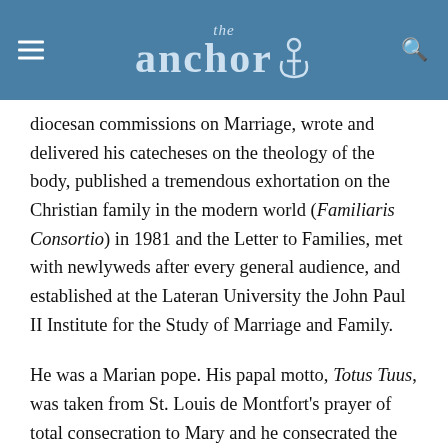the anchor
diocesan commissions on Marriage, wrote and delivered his catecheses on the theology of the body, published a tremendous exhortation on the Christian family in the modern world (Familiaris Consortio) in 1981 and the Letter to Families, met with newlyweds after every general audience, and established at the Lateran University the John Paul II Institute for the Study of Marriage and Family.
He was a Marian pope. His papal motto, Totus Tuus, was taken from St. Louis de Montfort's prayer of total consecration to Mary and he consecrated the world to her immaculate heart on March 25, 1984. He gave her credit for saving his life with her maternal hand after his assassination attempt on her feast day, presenting the bullet that pierced five vital organs to her in Fatima one year later. He proclaimed a Marian year and wrote "Mother of the